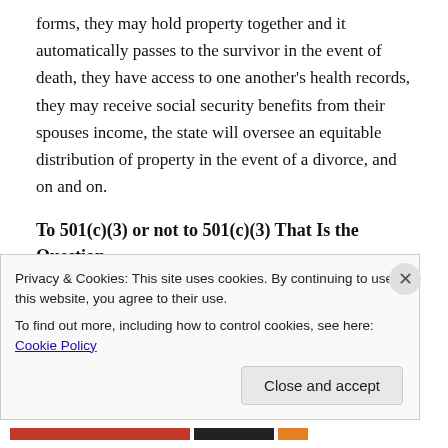forms, they may hold property together and it automatically passes to the survivor in the event of death, they have access to one another's health records, they may receive social security benefits from their spouses income, the state will oversee an equitable distribution of property in the event of a divorce, and on and on.
To 501(c)(3) or not to 501(c)(3) That Is the Question.
Just as individuals may obtain marriage licenses from states, in the same way, churches in America usually get what is called a 501(c)(3) that allows them to be tax…
Privacy & Cookies: This site uses cookies. By continuing to use this website, you agree to their use.
To find out more, including how to control cookies, see here: Cookie Policy